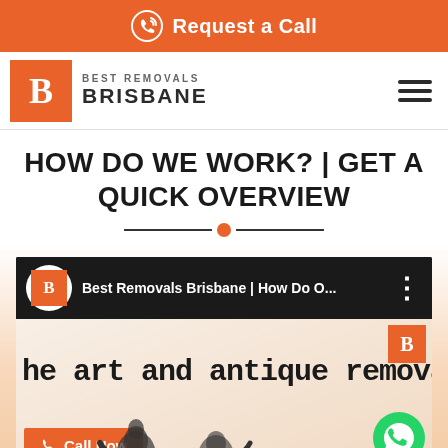Request a Call
[Figure (logo): Best Removals Brisbane logo with orange B box and brand text]
HOW DO WE WORK? | GET A QUICK OVERVIEW
[Figure (screenshot): YouTube-style video embed showing Best Removals Brisbane | How Do O... with video thumbnail showing 'he art and antique removals', a Call Now button, and a WhatsApp button]